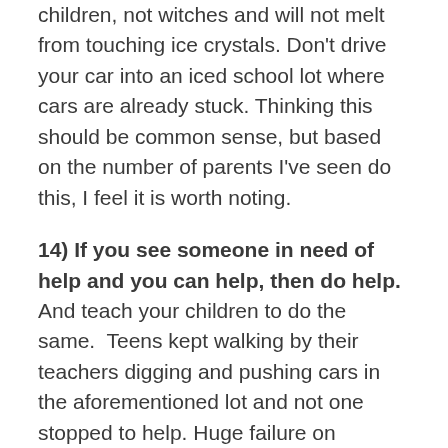children, not witches and will not melt from touching ice crystals. Don't drive your car into an iced school lot where cars are already stuck. Thinking this should be common sense, but based on the number of parents I've seen do this, I feel it is worth noting.
14) If you see someone in need of help and you can help, then do help. And teach your children to do the same.  Teens kept walking by their teachers digging and pushing cars in the aforementioned lot and not one stopped to help. Huge failure on societies part in my mind.
15) One of the joys of the snow is in building a